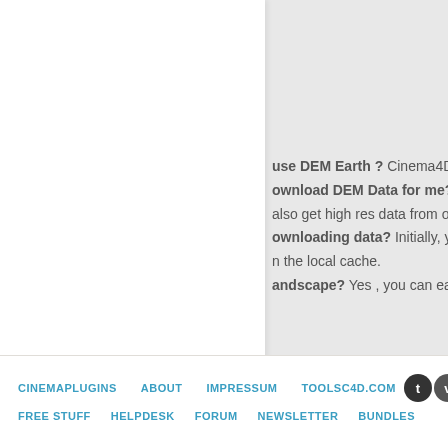use DEM Earth ? Cinema4D R13,R14 or
ownload DEM Data for me? Yes , DEM E...
also get high res data from our server (w...
ownloading data? Initially, yes. But each...
n the local cache.
andscape? Yes , you can easily convert...
C4D.PLUGINS +
VECTORIZER PRO
TOPOLOGY MAPS
>> BUNDLES <<
CINEMAPLUGINS   ABOUT   IMPRESSUM   TOOLSC4D.COM   [twitter] [vimeo]   FREE STUFF   HELPDESK   FORUM   NEWSLETTER   BUNDLES